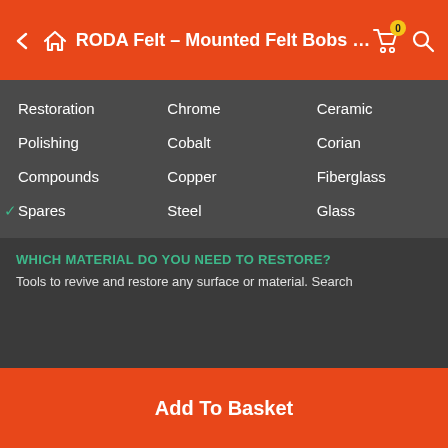RODA Felt – Mounted Felt Bobs …
Restoration
Polishing
Compounds
✓ Spares
Chrome
Cobalt
Copper
Steel
Tin
Zinc
More...
Ceramic
Corian
Fiberglass
Glass
Plastic
Granite
Wood
More...
WHICH MATERIAL DO YOU NEED TO RESTORE?
Tools to revive and restore any surface or material. Search
Add To Basket